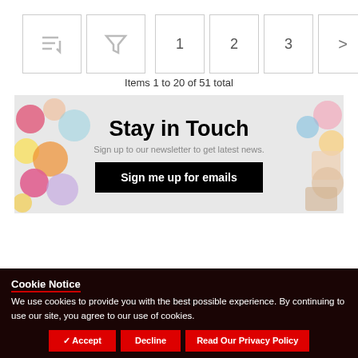[Figure (screenshot): Toolbar with sort, filter icons, pagination buttons (1, 2, 3, >), and view toggle buttons (grid active in red, list in gray)]
Items 1 to 20 of 51 total
[Figure (infographic): Newsletter signup banner with colorful food/craft images on left and right, title 'Stay in Touch', subtitle 'Sign up to our newsletter to get latest news.', and black 'Sign me up for emails' button]
Cookie Notice
We use cookies to provide you with the best possible experience. By continuing to use our site, you agree to our use of cookies.
✓ Accept   Decline   Read Our Privacy Policy